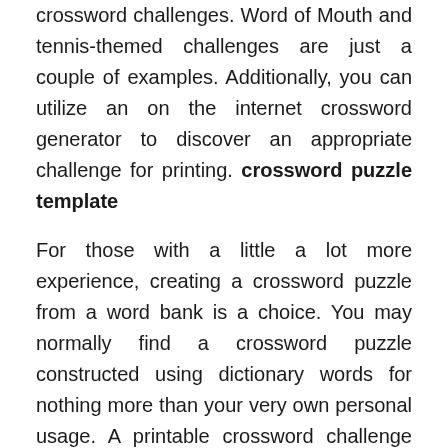crossword challenges. Word of Mouth and tennis-themed challenges are just a couple of examples. Additionally, you can utilize an on the internet crossword generator to discover an appropriate challenge for printing. crossword puzzle template
For those with a little a lot more experience, creating a crossword puzzle from a word bank is a choice. You may normally find a crossword puzzle constructed using dictionary words for nothing more than your very own personal usage. A printable crossword challenge should be as basic as viable if you are making one. The options will be much more exact and also the challenge will certainly be easier to complete by doing this. If you wish to test your pals, you can even provide it to them as a gift.